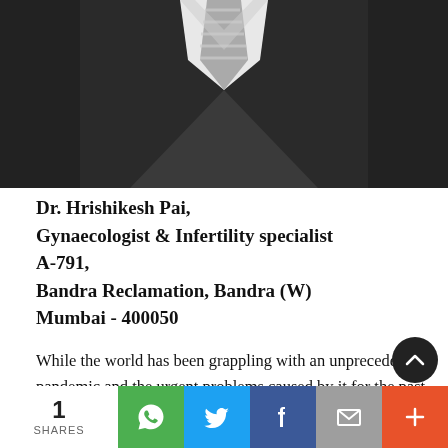[Figure (photo): Black and white photo of a man in a dark suit and striped tie, cropped to show chest and neck area]
Dr. Hrishikesh Pai,
Gynaecologist  &  Infertility specialist
A-791,
Bandra Reclamation, Bandra (W)
Mumbai  -  400050
While the world has been grappling with an unprecedented pandemic and the urgent problems caused by it for the past two years, unfortunately in the meanwhile, the focus has been waning from pre-…ing
1 SHARES | WhatsApp | Twitter | Facebook | Email | +